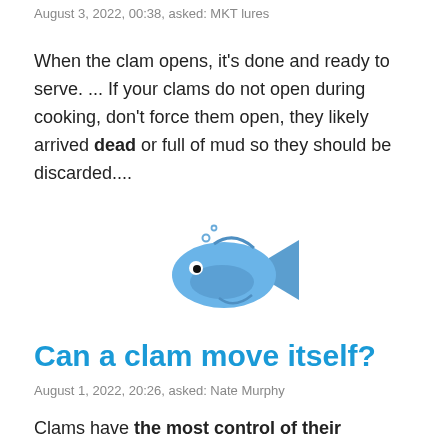August 3, 2022, 00:38, asked: MKT lures
When the clam opens, it's done and ready to serve. ... If your clams do not open during cooking, don't force them open, they likely arrived dead or full of mud so they should be discarded....
[Figure (illustration): Fish emoji — a blue cartoon fish facing right with small bubbles above]
Can a clam move itself?
August 1, 2022, 20:26, asked: Nate Murphy
Clams have the most control of their movement using their foot. ... For this reason, the foot is strongest at digging,